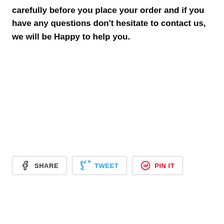carefully before you place your order and if you have any questions don't hesitate to contact us, we will be Happy to help you.
[Figure (infographic): Social sharing buttons: SHARE (Facebook), TWEET (Twitter), PIN IT (Pinterest)]